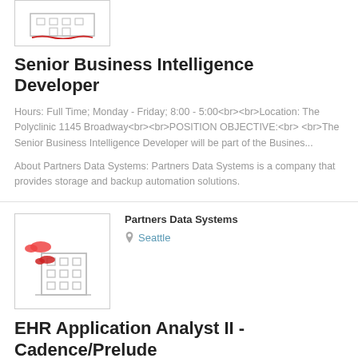[Figure (logo): Company logo placeholder at top of page, small building/company graphic with red underline decoration]
Senior Business Intelligence Developer
Hours: Full Time; Monday - Friday; 8:00 - 5:00<br><br>Location: The Polyclinic 1145 Broadway<br><br>POSITION OBJECTIVE:<br><br>The Senior Business Intelligence Developer will be part of the Busines...
About Partners Data Systems: Partners Data Systems is a company that provides storage and backup automation solutions.
[Figure (logo): Partners Data Systems company logo: building illustration with red cloud/wifi shapes, gray line-art style]
Partners Data Systems
Seattle
EHR Application Analyst II - Cadence/Prelude
Hours: Full Time; Monday - Friday; 8:00 - 5:00<br><br>Location: The Polyclinic Broadway<br><br>POSITION OBJECTIVE:<br><br>The